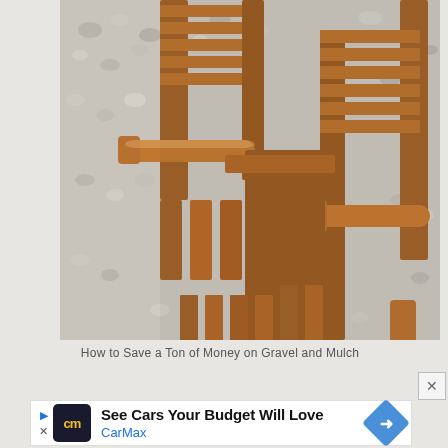[Figure (photo): Close-up photo of wooden Adirondack chairs with rounded armrests sitting on gravel/mulch ground. The chairs are made of slatted brown wood with smooth rounded armrests. Gravel stones are visible in the background between the chair legs.]
How to Save a Ton of Money on Gravel and Mulch
[Figure (infographic): Advertisement banner for CarMax showing 'See Cars Your Budget Will Love' with CarMax logo (cm letters in yellow on dark background) and a blue diamond navigation arrow icon on the right. Blue play arrow and X icons on the left.]